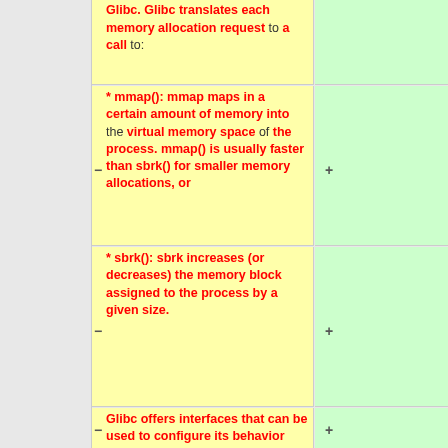Glibc. Glibc translates each memory allocation request to a call to:
* mmap(): mmap maps in a certain amount of memory into the virtual memory space of the process. mmap() is usually faster than sbrk() for smaller memory allocations, or
* sbrk(): sbrk increases (or decreases) the memory block assigned to the process by a given size.
Glibc offers interfaces that can be used to configure its behavior related to these calls.